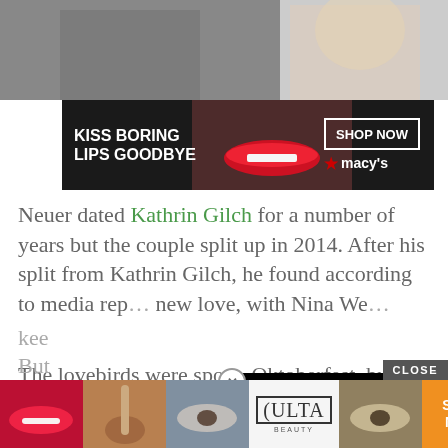[Figure (photo): Top image strip showing two people, partially cropped]
[Figure (photo): Macy's advertisement banner: KISS BORING LIPS GOODBYE with woman with red lips, SHOP NOW and Macy's star logo]
Neuer dated Kathrin Gilch for a number of years but the couple split up in 2014. After his split from Kathrin Gilch, he found according to media rep... new love, with Nina We...
The lovebirds were spo... Oktoberfest, but it was at the Opera Gala Deutsche AIDS-Stiftung in Berlin; th... kee... But...
[Figure (screenshot): Black video player overlay with circular loading spinner]
[Figure (photo): Bottom ULTA beauty advertisement bar with cosmetic images and SHOP NOW orange button with CLOSE button]